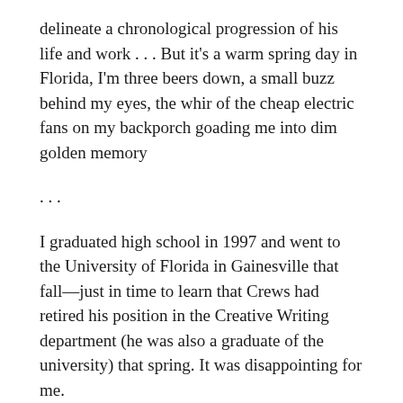delineate a chronological progression of his life and work . . . But it's a warm spring day in Florida, I'm three beers down, a small buzz behind my eyes, the whir of the cheap electric fans on my backporch goading me into dim golden memory . . .
I graduated high school in 1997 and went to the University of Florida in Gainesville that fall—just in time to learn that Crews had retired his position in the Creative Writing department (he was also a graduate of the university) that spring. It was disappointing for me.
I'd read a few of Crews's blistering, blustering novels, dark comic rants about the dirty